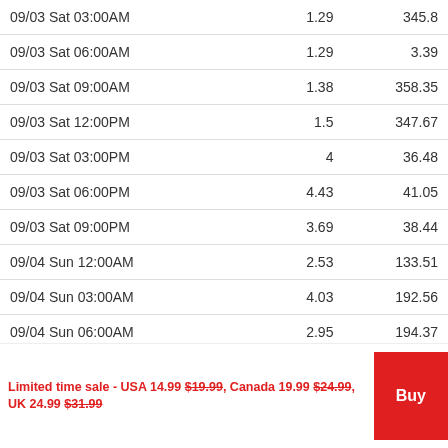|  |  |  |
| --- | --- | --- |
| 09/03 Sat 03:00AM | 1.29 | 345.8 |
| 09/03 Sat 06:00AM | 1.29 | 3.39 |
| 09/03 Sat 09:00AM | 1.38 | 358.35 |
| 09/03 Sat 12:00PM | 1.5 | 347.67 |
| 09/03 Sat 03:00PM | 4 | 36.48 |
| 09/03 Sat 06:00PM | 4.43 | 41.05 |
| 09/03 Sat 09:00PM | 3.69 | 38.44 |
| 09/04 Sun 12:00AM | 2.53 | 133.51 |
| 09/04 Sun 03:00AM | 4.03 | 192.56 |
| 09/04 Sun 06:00AM | 2.95 | 194.37 |
| 09/04 Sun 09:00AM | 2.38 | 202.32 |
| 09/04 Sun 12:00PM | 2.21 | 209.97 |
| 09/04 Sun 03:00PM | 2.46 | 225.5 |
| 09/04 Sun 06:00PM | 1.00 | 335.3 |
Limited time sale - USA 14.99 $19.99, Canada 19.99 $24.99, UK 24.99 $31.99